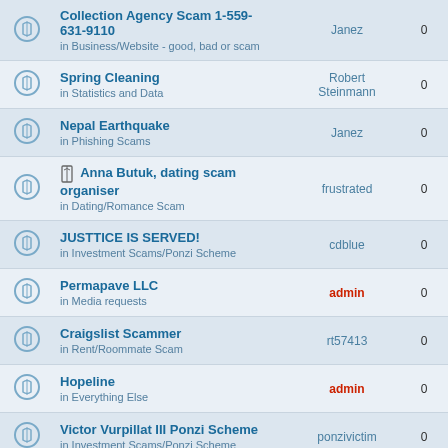|  | Topic | Author | Replies | Views |
| --- | --- | --- | --- | --- |
| [icon] | Collection Agency Scam 1-559-631-9110
in Business/Website - good, bad or scam | Janez | 0 | 4388 |
| [icon] | Spring Cleaning
in Statistics and Data | Robert Steinmann | 0 | 4112 |
| [icon] | Nepal Earthquake
in Phishing Scams | Janez | 0 | 4453 |
| [icon] | [attach] Anna Butuk, dating scam organiser
in Dating/Romance Scam | frustrated | 0 | 3590 |
| [icon] | JUSTTICE IS SERVED!
in Investment Scams/Ponzi Scheme | cdblue | 0 | 4835 |
| [icon] | Permapave LLC
in Media requests | admin | 0 | 4285 |
| [icon] | Craigslist Scammer
in Rent/Roommate Scam | rt57413 | 0 | 5275 |
| [icon] | Hopeline
in Everything Else | admin | 0 | 4472 |
| [icon] | Victor Vurpillat III Ponzi Scheme
in Investment Scams/Ponzi Scheme | ponzivictim | 0 | 4002 |